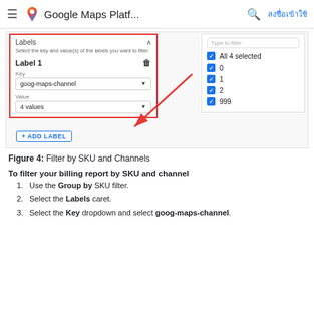Google Maps Platf...
[Figure (screenshot): Screenshot of Google Maps Platform billing UI showing Labels filter panel with Key set to goog-maps-channel and Value showing 4 values, alongside a right panel with checkboxes for All 4 selected, 0, 1, 2, 999. A red arrow points to the Value dropdown.]
Figure 4: Filter by SKU and Channels
To filter your billing report by SKU and channel
Use the Group by SKU filter.
Select the Labels caret.
Select the Key dropdown and select goog-maps-channel.